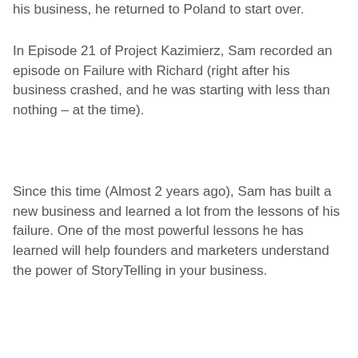his business, he returned to Poland to start over.
In Episode 21 of Project Kazimierz, Sam recorded an episode on Failure with Richard (right after his business crashed, and he was starting with less than nothing – at the time).
Since this time (Almost 2 years ago), Sam has built a new business and learned a lot from the lessons of his failure. One of the most powerful lessons he has learned will help founders and marketers understand the power of StoryTelling in your business.